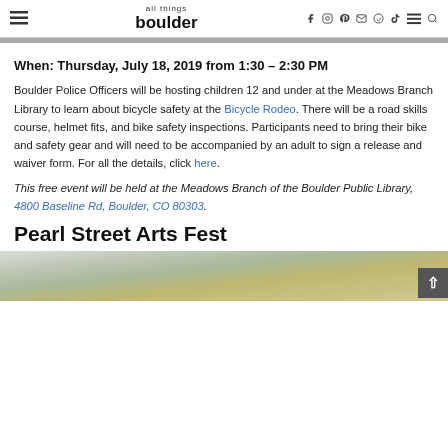all things boulder — navigation header with social icons
When: Thursday, July 18, 2019 from 1:30 – 2:30 PM
Boulder Police Officers will be hosting children 12 and under at the Meadows Branch Library to learn about bicycle safety at the Bicycle Rodeo. There will be a road skills course, helmet fits, and bike safety inspections. Participants need to bring their bike and safety gear and will need to be accompanied by an adult to sign a release and waiver form. For all the details, click here.
This free event will be held at the Meadows Branch of the Boulder Public Library, 4800 Baseline Rd, Boulder, CO 80303.
Pearl Street Arts Fest
[Figure (photo): Partial photo of Pearl Street Arts Fest event with mountains or outdoor scene visible at bottom of page]